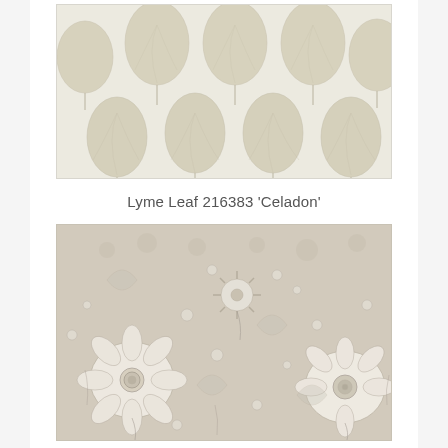[Figure (illustration): Wallpaper sample showing a repeating leaf pattern in soft celadon/grey-green tones on an off-white background. Large stylized heart-shaped leaves arranged in rows.]
Lyme Leaf 216383 ‘Celadon’
[Figure (illustration): Wallpaper sample showing a dense floral pattern with white and grey flowers, daisies, and botanical elements on a warm beige/linen background.]